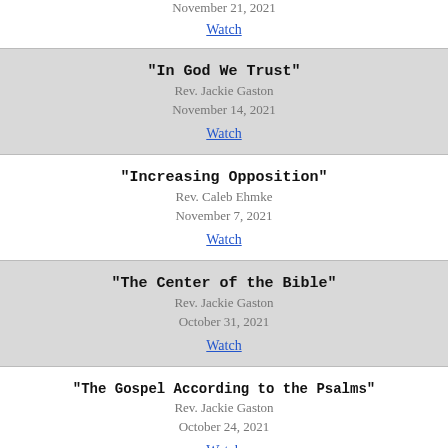November 21, 2021
Watch
"In God We Trust"
Rev. Jackie Gaston
November 14, 2021
Watch
"Increasing Opposition"
Rev. Caleb Ehmke
November 7, 2021
Watch
"The Center of the Bible"
Rev. Jackie Gaston
October 31, 2021
Watch
“The Gospel According to the Psalms”
Rev. Jackie Gaston
October 24, 2021
Watch